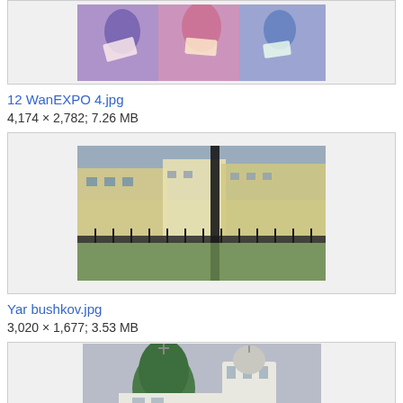[Figure (photo): Partially visible image of people at an event, appearing to hold papers or fans, colorfully dressed]
12 WanEXPO 4.jpg
4,174 × 2,782; 7.26 MB
[Figure (photo): Outdoor scene with historic buildings, green lawn, iron fence, and a dark pole/post in foreground]
Yar bushkov.jpg
3,020 × 1,677; 3.53 MB
[Figure (photo): Partially visible image of a Russian Orthodox church with green onion domes and white bell tower under overcast sky]